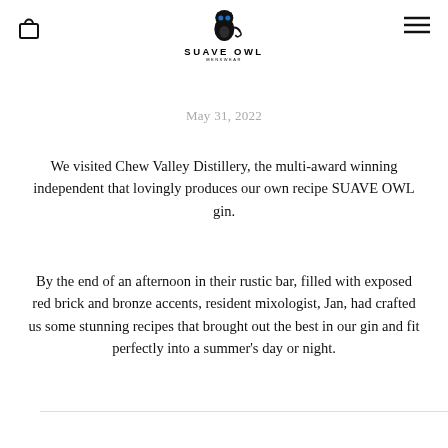Suave Owl Menswear — Navigation header with bag icon, logo, and menu icon
May 31, 2022
We visited Chew Valley Distillery, the multi-award winning independent that lovingly produces our own recipe SUAVE OWL gin.
By the end of an afternoon in their rustic bar, filled with exposed red brick and bronze accents, resident mixologist, Jan, had crafted us some stunning recipes that brought out the best in our gin and fit perfectly into a summer's day or night.